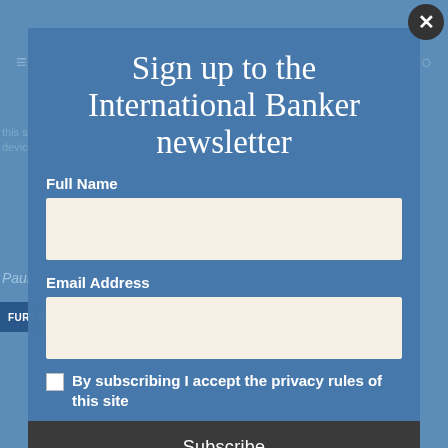Sign up to the International Banker newsletter
Full Name
Email Address
By subscribing I accept the privacy rules of this site
Subscribe